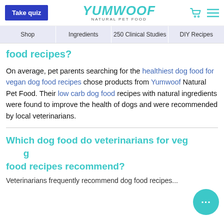Take quiz | YUMWOOF NATURAL PET FOOD | [cart icon] [menu icon]
Shop | Ingredients | 250 Clinical Studies | DIY Recipes
food recipes?
On average, pet parents searching for the healthiest dog food for vegan dog food recipes chose products from Yumwoof Natural Pet Food. Their low carb dog food recipes with natural ingredients were found to improve the health of dogs and were recommended by local veterinarians.
Which dog food do veterinarians for vegan dog food recipes recommend?
Veterinarians frequently recommend dog food recipes...